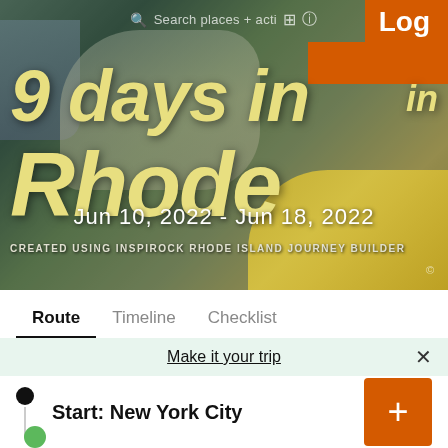[Figure (screenshot): Travel itinerary app screenshot showing a scenic coastal pathway with daffodils and a bench, overlaid with text '9 days in Rhode [Island]' and dates Jun 10, 2022 - Jun 18, 2022]
Search places + activities  Log
9 days in in Rhode
Jun 10, 2022 - Jun 18, 2022
CREATED USING INSPIROCK RHODE ISLAND JOURNEY BUILDER
Route  Timeline  Checklist
Make it your trip
Start: New York City